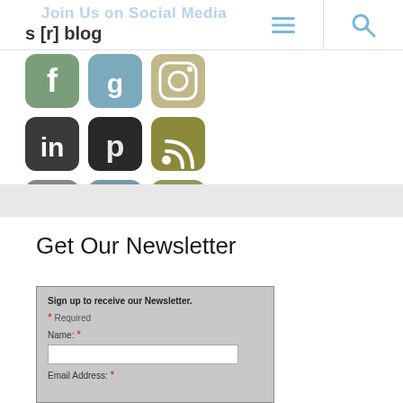Join Us on Social Media | s [r] blog
[Figure (infographic): 3x3 grid of social media app icons: Facebook, Google+, Instagram (top row); LinkedIn, Pinterest, RSS (middle row); Tumblr, Twitter, Video/Play button (bottom row)]
Get Our Newsletter
Sign up to receive our Newsletter.
* Required
Name: *
Email Address: *